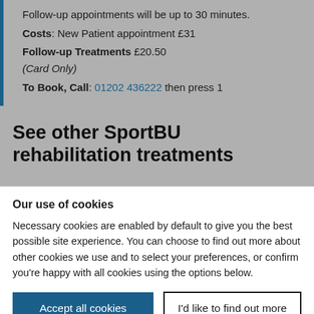Follow-up appointments will be up to 30 minutes.
Costs: New Patient appointment £31
Follow-up Treatments £20.50
(Card Only)
To Book, Call: 01202 436222 then press 1
See other SportBU rehabilitation treatments
Our use of cookies
Necessary cookies are enabled by default to give you the best possible site experience. You can choose to find out more about other cookies we use and to select your preferences, or confirm you're happy with all cookies using the options below.
Accept all cookies
I'd like to find out more